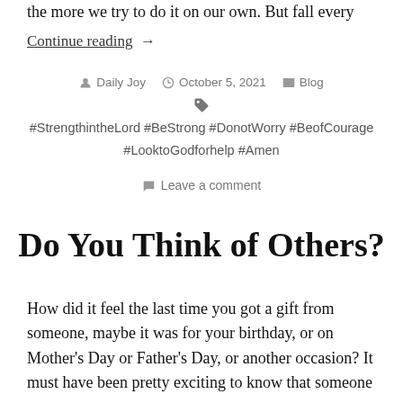the more we try to do it on our own. But fall every
Continue reading  →
Posted by Daily Joy   October 5, 2021   Blog
#StrengthintheLord #BeStrong #DonotWorry #BeofCourage #LooktoGodforhelp #Amen
Leave a comment
Do You Think of Others?
How did it feel the last time you got a gift from someone, maybe it was for your birthday, or on Mother's Day or Father's Day, or another occasion? It must have been pretty exciting to know that someone